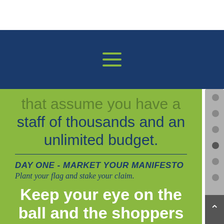[Figure (screenshot): Dark blue navigation bar with green hamburger menu icon (three horizontal lines)]
that assume you have a staff of thousands and an unlimited budget.
DAY ONE - MARKET YOUR MANIFESTO
Plant your flag and stake your claim.
Keep your eye on the ball and the shoppers in your store.